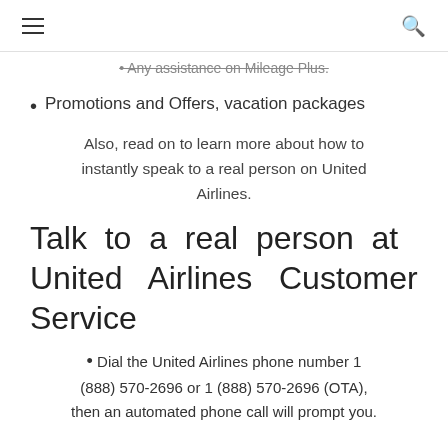☰  🔍
• Any assistance on Mileage Plus.
• Promotions and Offers, vacation packages
Also, read on to learn more about how to instantly speak to a real person on United Airlines.
Talk to a real person at United Airlines Customer Service
• Dial the United Airlines phone number 1 (888) 570-2696 or 1 (888) 570-2696 (OTA), then an automated phone call will prompt you.